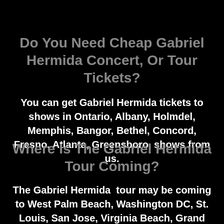Do You Need Cheap Gabriel Hermida Concert, Or Tour Tickets?
You can get Gabriel Hermida tickets to shows in Ontario, Albany, Holmdel, Memphis, Bangor, Bethel, Concord, Fresno, Atlanta, Greensboro, shows from us.
Where Is The Gabriel Hermida Tour Coming?
The Gabriel Hermida  tour may be coming to West Palm Beach, Washington DC, St. Louis, San Jose, Virginia Beach, Grand Rapids, Atlantic City, Grand ... Darien, ... Sioux Falls, and other ...